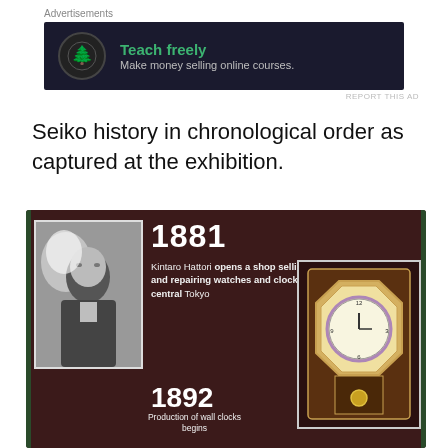[Figure (screenshot): Advertisement banner: dark navy background, tree/bonsai icon on left, green bold text 'Teach freely', subtext 'Make money selling online courses.']
REPORT THIS AD
Seiko history in chronological order as captured at the exhibition.
[Figure (photo): Photo of a dark museum exhibition board showing Seiko history. Year 1881: Kintaro Hattori opens a shop selling and repairing watches and clocks in central Tokyo. Year 1892: Production of wall clocks begins. Includes a portrait of Kintaro Hattori and a photo of an antique wall clock.]